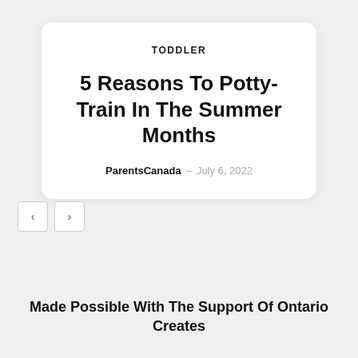TODDLER
5 Reasons To Potty-Train In The Summer Months
ParentsCanada - July 6, 2022
Made Possible With The Support Of Ontario Creates